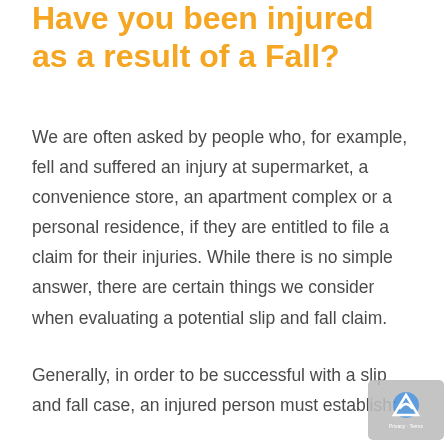Have you been injured as a result of a Fall?
We are often asked by people who, for example, fell and suffered an injury at supermarket, a convenience store, an apartment complex or a personal residence, if they are entitled to file a claim for their injuries. While there is no simple answer, there are certain things we consider when evaluating a potential slip and fall claim.
Generally, in order to be successful with a slip and fall case, an injured person must establish: